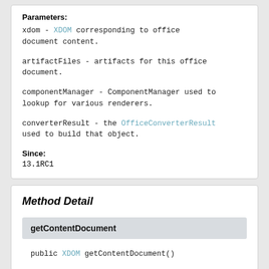Parameters:
xdom - XDOM corresponding to office document content.
artifactFiles - artifacts for this office document.
componentManager - ComponentManager used to lookup for various renderers.
converterResult - the OfficeConverterResult used to build that object.
Since:
13.1RC1
Method Detail
getContentDocument
public XDOM getContentDocument()